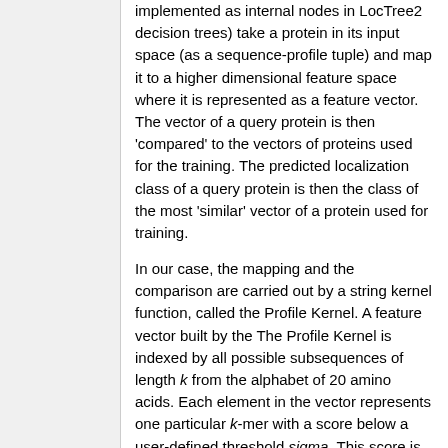implemented as internal nodes in LocTree2 decision trees) take a protein in its input space (as a sequence-profile tuple) and map it to a higher dimensional feature space where it is represented as a feature vector. The vector of a query protein is then 'compared' to the vectors of proteins used for the training. The predicted localization class of a query protein is then the class of the most 'similar' vector of a protein used for training.
In our case, the mapping and the comparison are carried out by a string kernel function, called the Profile Kernel. A feature vector built by the The Profile Kernel is indexed by all possible subsequences of length k from the alphabet of 20 amino acids. Each element in the vector represents one particular k-mer with a score below a user-defined threshold sigma. This score is calculated as the ungapped cumulative substitution score in the corresponding sequence profile. The similarity between training and a test protein is calculated as the dot product between their k-